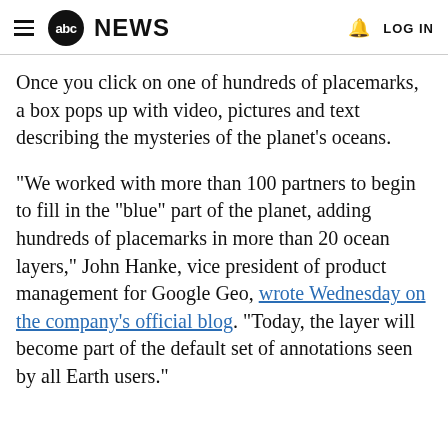abc NEWS  LOG IN
Once you click on one of hundreds of placemarks, a box pops up with video, pictures and text describing the mysteries of the planet's oceans.
"We worked with more than 100 partners to begin to fill in the "blue" part of the planet, adding hundreds of placemarks in more than 20 ocean layers," John Hanke, vice president of product management for Google Geo, wrote Wednesday on the company's official blog. "Today, the layer will become part of the default set of annotations seen by all Earth users."